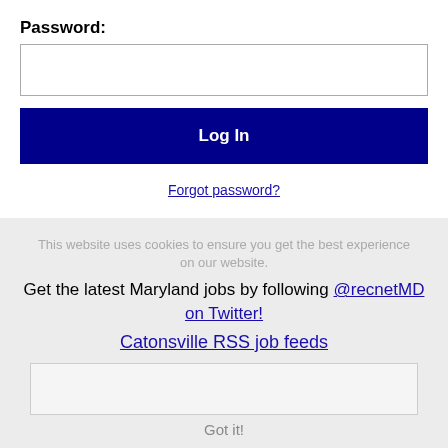Password:
Log In
Forgot password?
[Figure (logo): Facebook and LinkedIn social media logos side by side]
This website uses cookies to ensure you get the best experience on our website.
Get the latest Maryland jobs by following @recnetMD on Twitter!
Catonsville RSS job feeds
Got it!